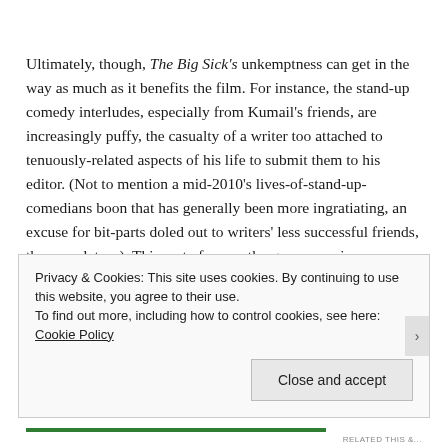Ultimately, though, The Big Sick's unkemptness can get in the way as much as it benefits the film. For instance, the stand-up comedy interludes, especially from Kumail's friends, are increasingly puffy, the casualty of a writer too attached to tenuously-related aspects of his life to submit them to his editor. (Not to mention a mid-2010's lives-of-stand-up-comedians boon that has generally been more ingratiating, an excuse for bit-parts doled out to writers' less successful friends, than revelatory). This sort of sympathy gone awry is
Privacy & Cookies: This site uses cookies. By continuing to use this website, you agree to their use.
To find out more, including how to control cookies, see here: Cookie Policy
Close and accept